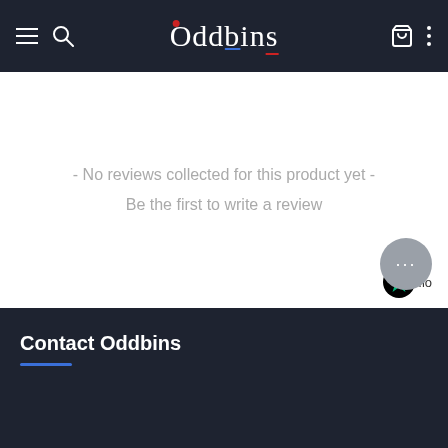Oddbins
- No reviews collected for this product yet - Be the first to write a review
[Figure (logo): Trustpilot star logo with .io text]
[Figure (other): Chat/messaging button with ellipsis dots]
Contact Oddbins